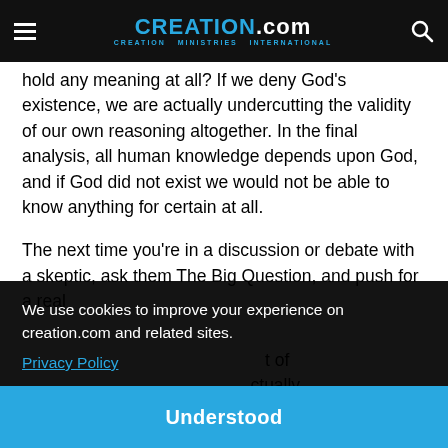CREATION.com — CREATION MINISTRIES INTERNATIONAL
hold any meaning at all? If we deny God's existence, we are actually undercutting the validity of our own reasoning altogether. In the final analysis, all human knowledge depends upon God, and if God did not exist we would not be able to know anything for certain at all.
The next time you're in a discussion or debate with a skeptic, ask them The Big Question, and push for a real [answer. Point out of] [that ...actually] [... ence]
We use cookies to improve your experience on creation.com and related sites.
Privacy Policy
Understood
References and notes